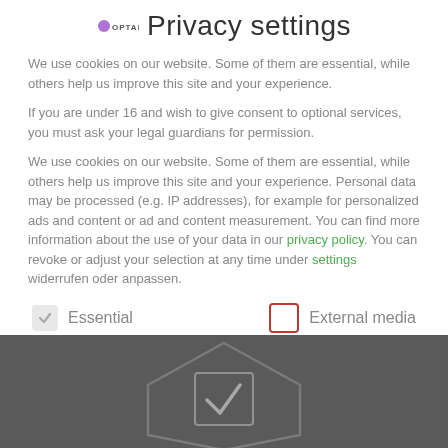Privacy settings
We use cookies on our website. Some of them are essential, while others help us improve this site and your experience.
If you are under 16 and wish to give consent to optional services, you must ask your legal guardians for permission.
We use cookies on our website. Some of them are essential, while others help us improve this site and your experience. Personal data may be processed (e.g. IP addresses), for example for personalized ads and content or ad and content measurement. You can find more information about the use of your data in our privacy policy. You can revoke or adjust your selection at any time under settings widerrufen oder anpassen.
Essential
External media
[Figure (screenshot): Green accept button bar partially visible, with a dark hexagonal overlay containing a checkmark at the bottom of the page.]